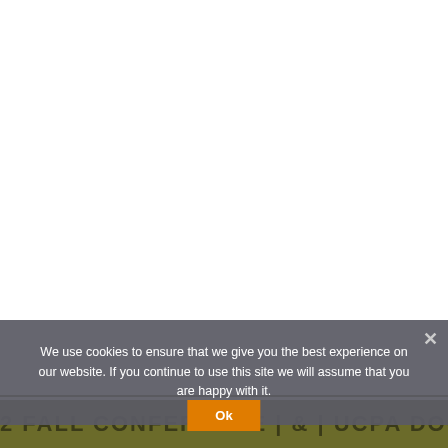[Figure (screenshot): White area at top of webpage, mostly blank content area]
We use cookies to ensure that we give you the best experience on our website. If you continue to use this site we will assume that you are happy with it.
2 FALL CONFERENCE | & | UCPA DOCTORS